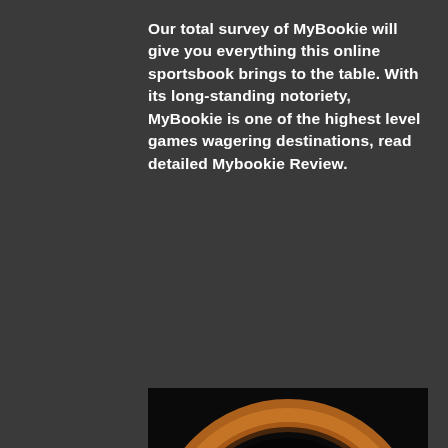Our total survey of MyBookie will give you everything this online sportsbook brings to the table. With its long-standing notoriety, MyBookie is one of the highest level games wagering destinations, read detailed Mybookie Review.
[Figure (photo): A blurred circular logo on a black background with an orange ring border, showing a partially visible MyBookie logo in the center.]